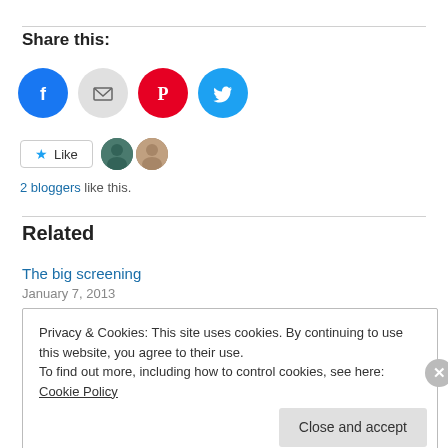Share this:
[Figure (infographic): Four social sharing icon circles: Facebook (blue), Email (gray), Pinterest (red), Twitter (cyan)]
[Figure (infographic): Like button with star icon, and two blogger avatar thumbnails]
2 bloggers like this.
Related
The big screening
January 7, 2013
Privacy & Cookies: This site uses cookies. By continuing to use this website, you agree to their use.
To find out more, including how to control cookies, see here: Cookie Policy